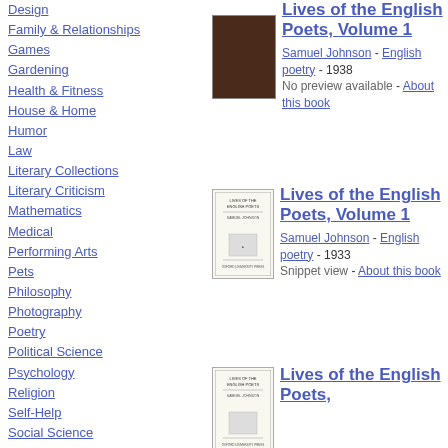Design
Family & Relationships
Games
Gardening
Health & Fitness
House & Home
Humor
Law
Literary Collections
Literary Criticism
Mathematics
Medical
Performing Arts
Pets
Philosophy
Photography
Poetry
Political Science
Psychology
Religion
Self-Help
Social Science
[Figure (photo): Dark brown book cover for Lives of the English Poets Volume 1]
Lives of the English Poets, Volume 1
Samuel Johnson - English poetry - 1938 No preview available - About this book
[Figure (photo): White book cover with text lines for Lives of the English Poets Volume 1]
Lives of the English Poets, Volume 1
Samuel Johnson - English poetry - 1933 Snippet view - About this book
[Figure (photo): White book cover with text lines for Lives of the English Poets (partial)]
Lives of the English Poets,